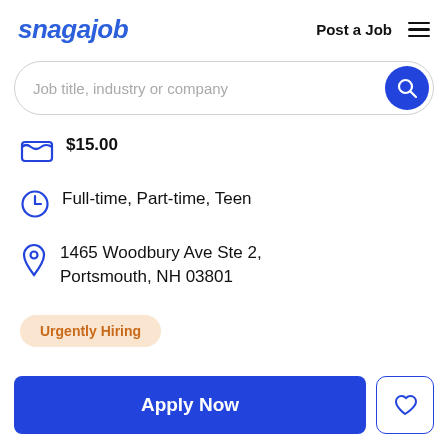snagajob | Post a Job
[Figure (screenshot): Search bar with placeholder text 'Job title, industry or company' and a blue circular search button]
$15.00
Full-time, Part-time, Teen
1465 Woodbury Ave Ste 2, Portsmouth, NH 03801
Urgently Hiring
Apply Now